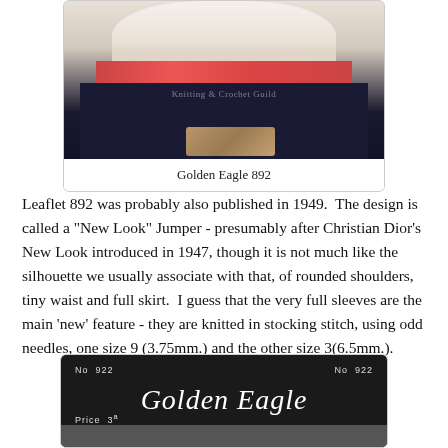[Figure (photo): Photo of a woman wearing a cream and red Norwegian-style knitted jumper with very full sleeves and a dark skirt, holding a wicker clutch. Watermark reads 'Knitting & Crochet Guild'.]
Golden Eagle 892
Leaflet 892 was probably also published in 1949.  The design is called a "New Look" Jumper - presumably after Christian Dior's New Look introduced in 1947, though it is not much like the silhouette we usually associate with that, of rounded shoulders, tiny waist and full skirt.  I guess that the very full sleeves are the main 'new' feature - they are knitted in stocking stitch, using odd needles, one size 9 (3.75mm.) and the other size 3(6.5mm.).
[Figure (photo): Dark background label for Golden Eagle knitting pattern No 922, showing 'No 922' on both sides, 'Golden Eagle' in large italic script in the center, 'Price 3ᵃ' on the lower left, and a decorative double underline beneath the brand name.]